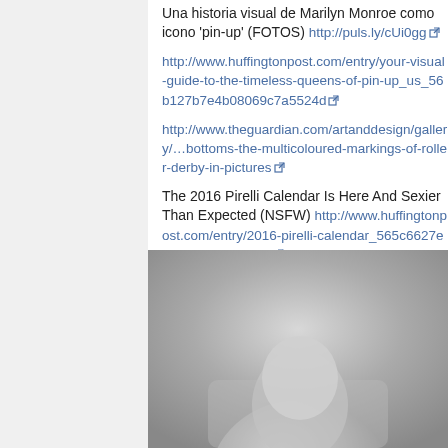Una historia visual de Marilyn Monroe como icono 'pin-up' (FOTOS) http://puls.ly/cUi0gg
http://www.huffingtonpost.com/entry/your-visual-guide-to-the-timeless-queens-of-pin-up_us_56b127b7e4b08069c7a5524d
http://www.theguardian.com/artanddesign/gallery/…bottoms-the-multicoloured-markings-of-roller-derby-in-pictures
The 2016 Pirelli Calendar Is Here And Sexier Than Expected (NSFW) http://www.huffingtonpost.com/entry/2016-pirelli-calendar_565c6627e4b079b2818adf1e
34 weird vintage photos of women in tiny miniskirts at huge old computers http://boingboing.net/2015/07/30/miniskirtsandco…
[Figure (photo): Black and white photo of a person, partially visible at bottom of page]